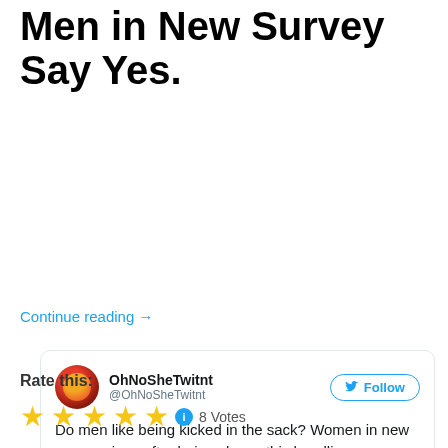Men in New Survey Say Yes.
[Figure (screenshot): Tweet from @OhNoSheTwitnt: Do men like being kicked in the sack? Women in new survey given after being shown this headline say yes. 1:06 PM - 20 Jun 2017. 31,371 retweets, 52,049 likes.]
Continue reading →
Rate this:
8 Votes